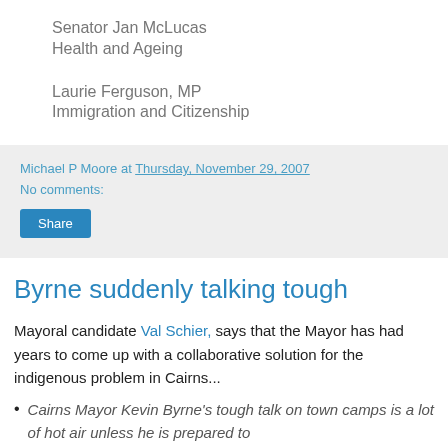Senator Jan McLucas
Health and Ageing
Laurie Ferguson, MP
Immigration and Citizenship
Michael P Moore at Thursday, November 29, 2007
No comments:
Share
Byrne suddenly talking tough
Mayoral candidate Val Schier, says that the Mayor has had years to come up with a collaborative solution for the indigenous problem in Cairns...
Cairns Mayor Kevin Byrne's tough talk on town camps is a lot of hot air unless he is prepared to